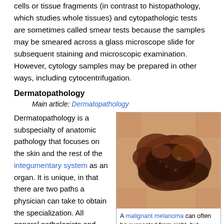cells or tissue fragments (in contrast to histopathology, which studies whole tissues) and cytopathologic tests are sometimes called smear tests because the samples may be smeared across a glass microscope slide for subsequent staining and microscopic examination. However, cytology samples may be prepared in other ways, including cytocentrifugation.
Dermatopathology
Main article: Dermatopathology
Dermatopathology is a subspecialty of anatomic pathology that focuses on the skin and the rest of the integumentary system as an organ. It is unique, in that there are two paths a physician can take to obtain the specialization. All general pathologists and general dermatologists train in the
[Figure (photo): A photo of a malignant melanoma skin lesion — a dark, irregular brown-black lesion on skin]
A malignant melanoma can often be suspected from sight, but confirmation of the diagnosis or outright removal requires an excisional biopsy.